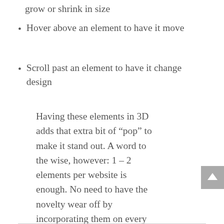grow or shrink in size
Hover above an element to have it move
Scroll past an element to have it change design
Having these elements in 3D adds that extra bit of “pop” to make it stand out. A word to the wise, however: 1 – 2 elements per website is enough. No need to have the novelty wear off by incorporating them on every page at the cost of slowing your site speed.